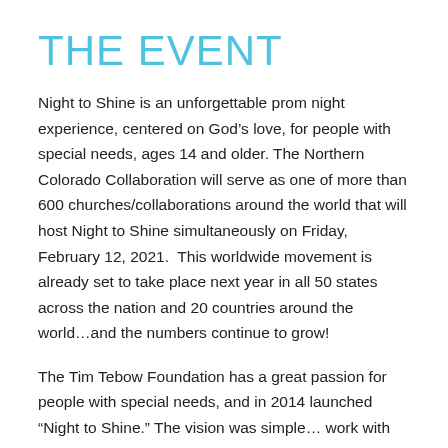THE EVENT
Night to Shine is an unforgettable prom night experience, centered on God’s love, for people with special needs, ages 14 and older. The Northern Colorado Collaboration will serve as one of more than 600 churches/collaborations around the world that will host Night to Shine simultaneously on Friday, February 12, 2021.  This worldwide movement is already set to take place next year in all 50 states across the nation and 20 countries around the world…and the numbers continue to grow!
The Tim Tebow Foundation has a great passion for people with special needs, and in 2014 launched “Night to Shine.” The vision was simple… work with churches around the country to provide an incredible prom night experience, centered on God’s